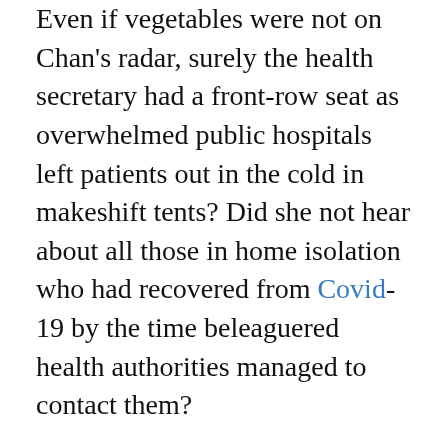Even if vegetables were not on Chan's radar, surely the health secretary had a front-row seat as overwhelmed public hospitals left patients out in the cold in makeshift tents? Did she not hear about all those in home isolation who had recovered from Covid-19 by the time beleaguered health authorities managed to contact them?
Even before she suggested the lockdown policy U-turn, people were panic buying over-the-counter medication, fully expecting to be fighting the virus on their own. People were not acting irrationally.
After President Xi put the government on